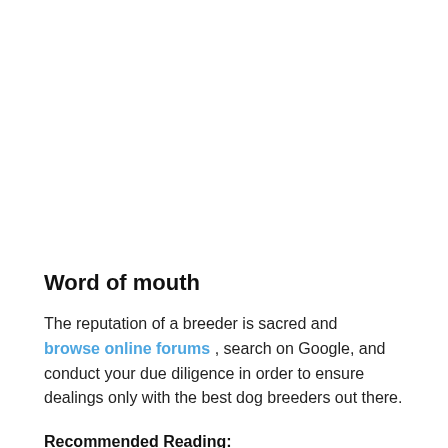Word of mouth
The reputation of a breeder is sacred and browse online forums , search on Google, and conduct your due diligence in order to ensure dealings only with the best dog breeders out there.
Recommended Reading: